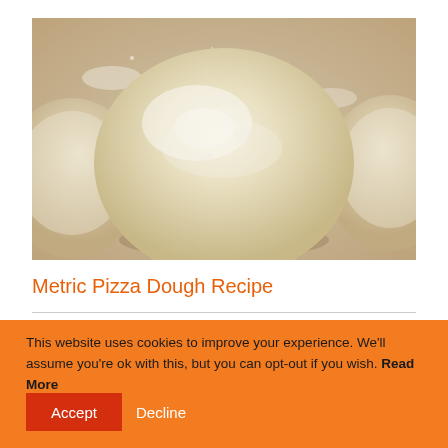[Figure (photo): Three balls of pizza dough dusted with flour on a floured surface, photographed close-up from above. The central dough ball is large and prominent.]
Metric Pizza Dough Recipe
This website uses cookies to improve your experience. We'll assume you're ok with this, but you can opt-out if you wish. Read More
Accept
Decline